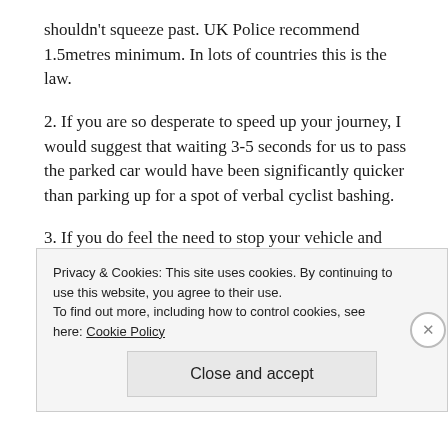shouldn't squeeze past. UK Police recommend 1.5metres minimum. In lots of countries this is the law.
2. If you are so desperate to speed up your journey, I would suggest that waiting 3-5 seconds for us to pass the parked car would have been significantly quicker than parking up for a spot of verbal cyclist bashing.
3. If you do feel the need to stop your vehicle and abuse some upstanding citizens, it's probably best not to do it in your branded work vehicle. This is particularly important if you work for a small organisation and are in fact the registered director of said company, and it is absolutely
Privacy & Cookies: This site uses cookies. By continuing to use this website, you agree to their use. To find out more, including how to control cookies, see here: Cookie Policy
Close and accept